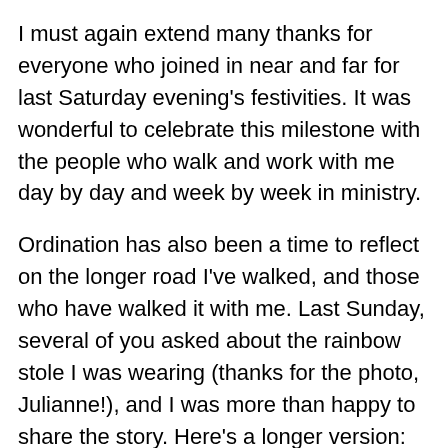I must again extend many thanks for everyone who joined in near and far for last Saturday evening's festivities. It was wonderful to celebrate this milestone with the people who walk and work with me day by day and week by week in ministry.
Ordination has also been a time to reflect on the longer road I've walked, and those who have walked it with me. Last Sunday, several of you asked about the rainbow stole I was wearing (thanks for the photo, Julianne!), and I was more than happy to share the story. Here's a longer version:
From 2009-2011, I worked in Washington, DC, at the Methodist Federation for Social Action. The executive director and my supervisor, Rev. Kathryn Johnson, was a clergy person from the New England Conference. Kathryn, at that point, had led the organization through 3 United